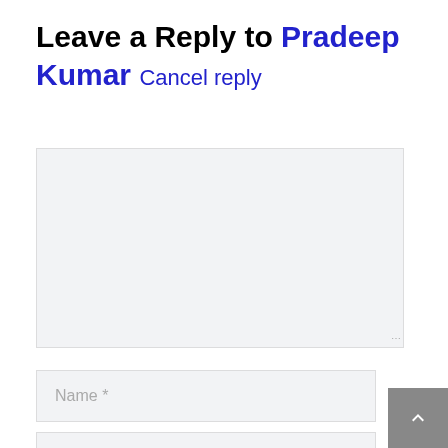Leave a Reply to Pradeep Kumar  Cancel reply
[Figure (other): Comment textarea input box (empty, light gray background with resize handle)]
[Figure (other): Name text input field with placeholder 'Name *']
[Figure (other): Email text input field with placeholder 'Email *']
[Figure (other): Back to top button (gray square with white upward chevron arrow)]